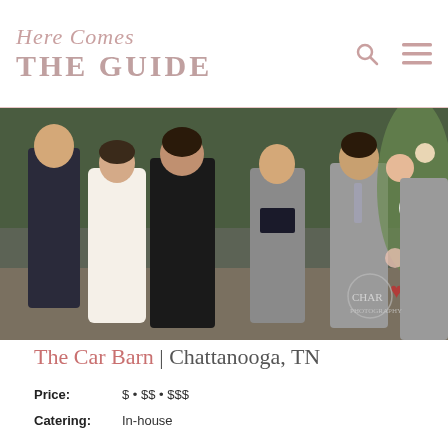Here Comes THE GUIDE
[Figure (photo): Wedding ceremony photo showing bride and groom with wedding party, officiant holding a book, floral arch in background, watermark reads CHAR photography]
The Car Barn | Chattanooga, TN
Price: $ • $$ • $$$
Catering: In-house
Type: All-Inclusive • Banquet Hall / Events Facility, Barn, Loft / Warehouse / Industrial, Patio / Deck / Terrace, Conference Center, Unique
SEE MORE >